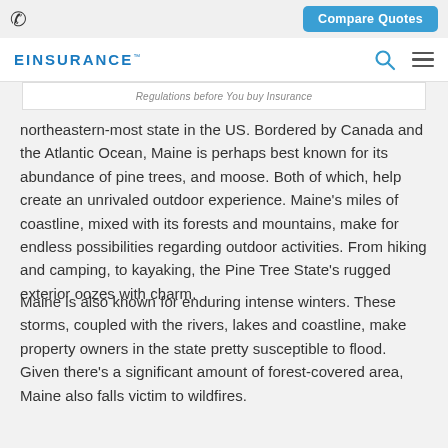Compare Quotes
EINSURANCE™
Regulations before you buy insurance
northeastern-most state in the US. Bordered by Canada and the Atlantic Ocean, Maine is perhaps best known for its abundance of pine trees, and moose. Both of which, help create an unrivaled outdoor experience. Maine's miles of coastline, mixed with its forests and mountains, make for endless possibilities regarding outdoor activities. From hiking and camping, to kayaking, the Pine Tree State's rugged exterior oozes with charm.
Maine is also known for enduring intense winters. These storms, coupled with the rivers, lakes and coastline, make property owners in the state pretty susceptible to flood. Given there's a significant amount of forest-covered area, Maine also falls victim to wildfires.